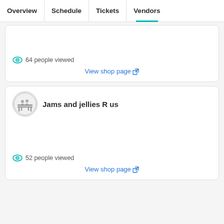Overview | Schedule | Tickets | Vendors
64 people viewed
View shop page
Jams and jellies R us
52 people viewed
View shop page